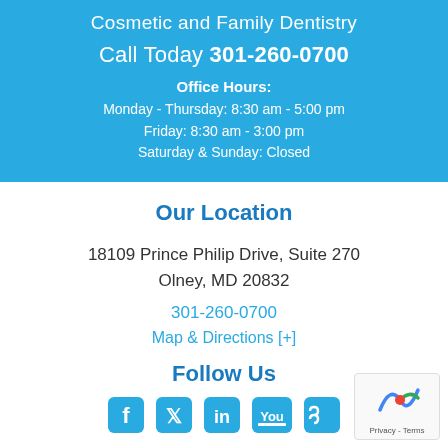Cosmetic and Family Dentistry
Call Today 301-260-0700
Office Hours:
Monday - Thursday: 8:30 am - 5:00 pm
Friday: 8:30 am - 3:00 pm
Saturday & Sunday: Closed
Our Location
18109 Prince Philip Drive, Suite 270
Olney, MD 20832
301-260-0700
Map & Directions [+]
Follow Us
[Figure (illustration): Social media icons: Facebook, Twitter, LinkedIn, YouTube, RSS feed]